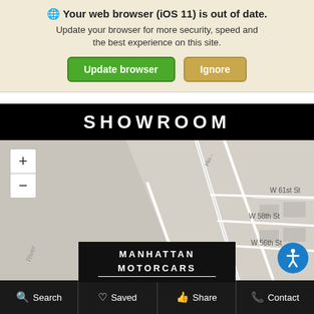🌐 Your web browser (iOS 11) is out of date. Update your browser for more security, speed and the best experience on this site.
Update browser | Ignore
SHOWROOM
[Figure (map): Street map showing Manhattan area near 12th Ave, W Side Hwy, Riverside Blvd, W 56th St, W 58th St, W 61st St with zoom +/- controls]
[Figure (logo): Manhattan Motorcars logo — white text on black background]
🔍 Search  ♡ Saved  👍 Share  📞 Contact